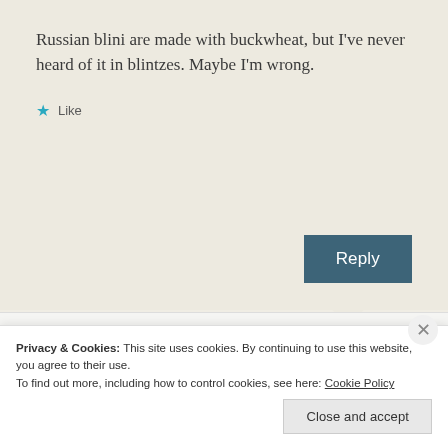Russian blini are made with buckwheat, but I've never heard of it in blintzes. Maybe I'm wrong.
★ Like
Reply
Julie
Privacy & Cookies: This site uses cookies. By continuing to use this website, you agree to their use.
To find out more, including how to control cookies, see here: Cookie Policy
Close and accept